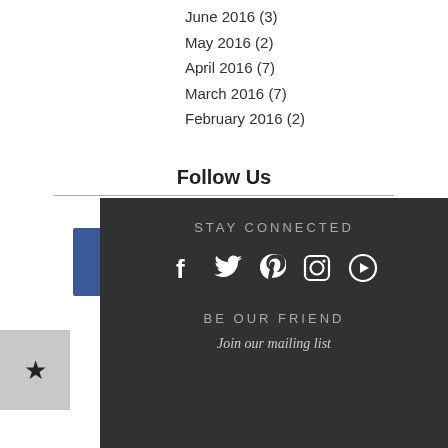June 2016 (3)
May 2016 (2)
April 2016 (7)
March 2016 (7)
February 2016 (2)
Follow Us
[Figure (infographic): Social media icons: Facebook (blue), Twitter (light blue), Pinterest (white/red), Instagram (teal)]
[Figure (infographic): Dark footer with STAY CONNECTED heading, social media icons (Facebook, Twitter, Pinterest, Instagram, YouTube), BE OUR FRIEND heading, and Join our mailing list text]